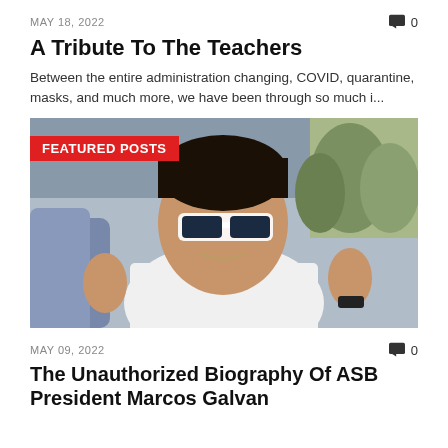MAY 18, 2022    0
A Tribute To The Teachers
Between the entire administration changing, COVID, quarantine, masks, and much more, we have been through so much i...
[Figure (photo): Photo of a young man wearing white-framed sunglasses giving two thumbs up while sitting in a car. A 'FEATURED POSTS' red label overlays the top-left corner of the image.]
MAY 09, 2022    0
The Unauthorized Biography Of ASB President Marcos Galvan